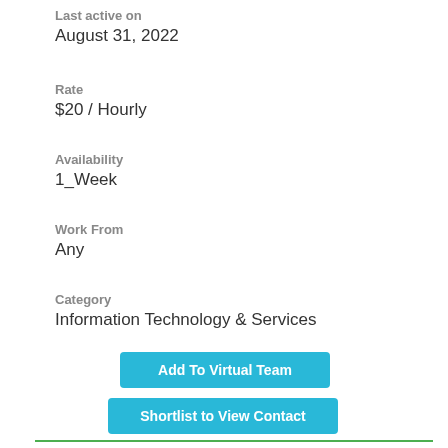Last active on
August 31, 2022
Rate
$20 / Hourly
Availability
1_Week
Work From
Any
Category
Information Technology & Services
Add To Virtual Team
Shortlist to View Contact
Deployed: 30+ Days ago
Shortlisted: 1